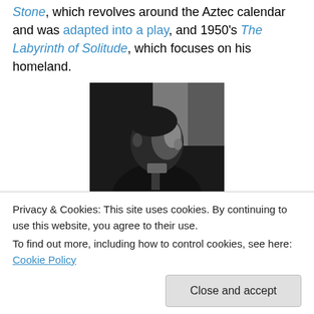Stone, which revolves around the Aztec calendar and was adapted into a play, and 1950's The Labyrinth of Solitude, which focuses on his homeland.
[Figure (photo): Black and white photograph of a man in profile, wearing a suit and tie, sitting indoors.]
Juan Rulfo (1918-1986), left, had a tremendous
2001) is known for his humorous writings, which are